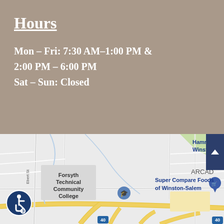Hours
Mon – Fri: 7:30 AM–1:00 PM & 2:00 PM – 6:00 PM
Sat – Sun: Closed
[Figure (map): Google Maps screenshot showing area around Forsyth Technical Community College in Winston-Salem, NC. Landmarks visible include Hamrick's of Winston Salem, Super Compare Foods of Winston-Salem, and highway 40. Street label 'Ebert St' visible on left. 'ARCAD' partially visible on right edge.]